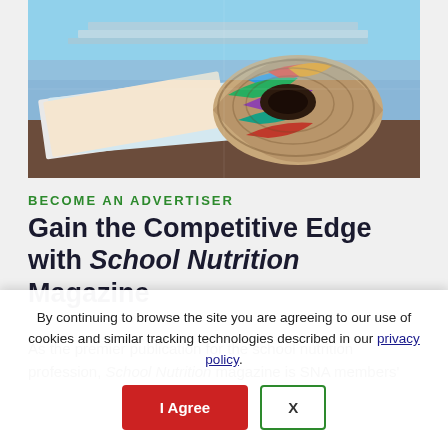[Figure (photo): Rolled/stacked colorful magazines photographed up close, showing the spines and rolled pages with vibrant colors against a blurred background]
BECOME AN ADVERTISER
Gain the Competitive Edge with School Nutrition Magazine
As the premier publication for the school nutrition profession, School Nutrition magazine is SNA members'
By continuing to browse the site you are agreeing to our use of cookies and similar tracking technologies described in our privacy policy.